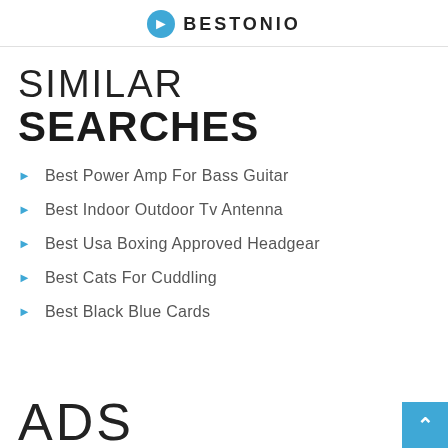BESTONIO
SIMILAR SEARCHES
Best Power Amp For Bass Guitar
Best Indoor Outdoor Tv Antenna
Best Usa Boxing Approved Headgear
Best Cats For Cuddling
Best Black Blue Cards
ADS